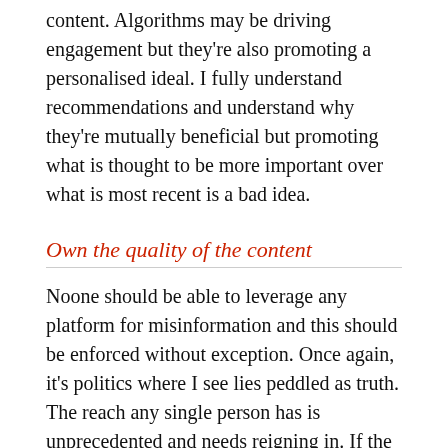content. Algorithms may be driving engagement but they're also promoting a personalised ideal. I fully understand recommendations and understand why they're mutually beneficial but promoting what is thought to be more important over what is most recent is a bad idea.
Own the quality of the content
Noone should be able to leverage any platform for misinformation and this should be enforced without exception. Once again, it's politics where I see lies peddled as truth. The reach any single person has is unprecedented and needs reigning in. If the POTUS tweets a lie, it should be punished. Shrugging your shoulders isn't helping anyone.
Moderation, moderation, moderation